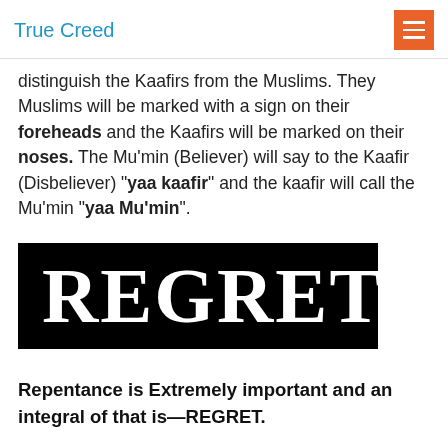True Creed
distinguish the Kaafirs from the Muslims. They Muslims will be marked with a sign on their foreheads and the Kaafirs will be marked on their noses. The Mu'min (Believer) will say to the Kaafir (Disbeliever) "yaa kaafir" and the kaafir will call the Mu'min "yaa Mu'min".
[Figure (illustration): Black rectangle banner with white serif text reading REGRET in large letters]
Repentance is Extremely important and an integral of that is—REGRET.